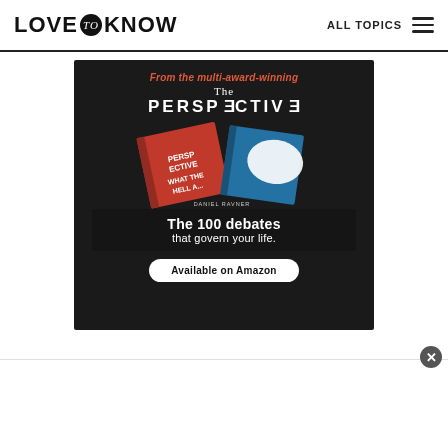LOVE to KNOW  ALL TOPICS
[Figure (illustration): Advertisement for 'The Perspective' book by Daniel Ravner. Dark background with red and blue book cover showing 'WHAT THE HELL...' text. Headline: 'The 100 debates that govern your life.' Button: 'Available on Amazon'. Tagline: 'From the multi-award-winning']
[Figure (other): White bottom advertisement strip with a grey circular close (X) button in the top-right corner]